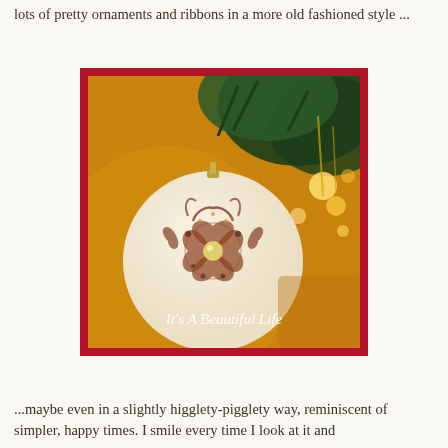lots of pretty ornaments and ribbons in a more old fashioned style ...
[Figure (photo): A white Christmas ornament with decorative painted design hanging on a Christmas tree with warm bokeh lights in the background. A red border frames the image. Text overlay reads 'It's A Beautiful Life' in white script.]
...maybe even in a slightly higglety-pigglety way, reminiscent of simpler, happy times. I smile every time I look at it and